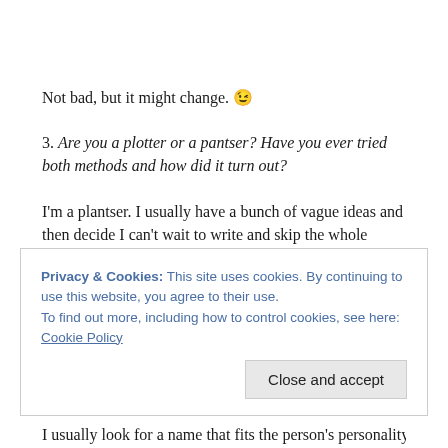Not bad, but it might change. 😉
3. Are you a plotter or a pantser? Have you ever tried both methods and how did it turn out?
I'm a plantser. I usually have a bunch of vague ideas and then decide I can't wait to write and skip the whole plotting part. I used to be a hardcore plotter, but I got impatient. 😉
4. What do you reward yourself with after meeting a goal?
Privacy & Cookies: This site uses cookies. By continuing to use this website, you agree to their use.
To find out more, including how to control cookies, see here: Cookie Policy
I usually look for a name that fits the person's personality and